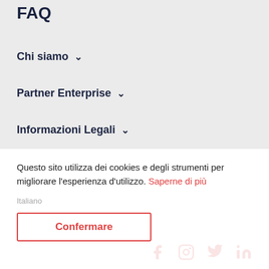FAQ
Chi siamo ∨
Partner Enterprise ∨
Informazioni Legali ∨
Svizzera
Questo sito utilizza dei cookies e degli strumenti per migliorare l'esperienza d'utilizzo. Saperne di più
Italiano
Confermare